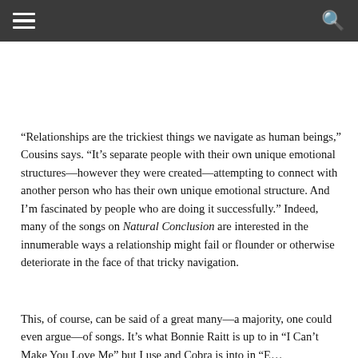[hamburger menu] [search icon]
“Relationships are the trickiest things we navigate as human beings,” Cousins says. “It’s separate people with their own unique emotional structures—however they were created—attempting to connect with another person who has their own unique emotional structure. And I’m fascinated by people who are doing it successfully.” Indeed, many of the songs on Natural Conclusion are interested in the innumerable ways a relationship might fail or flounder or otherwise deteriorate in the face of that tricky navigation.
This, of course, can be said of a great many—a majority, one could even argue—of songs. It’s what Bonnie Raitt is up to in “I Can’t Make You Love Me” but I use and Cobra is into in “E…